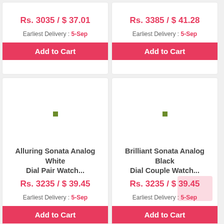Rs. 3035 / $ 37.01
Earliest Delivery : 5-Sep
Add to Cart
Rs. 3385 / $ 41.28
Earliest Delivery : 5-Sep
Add to Cart
[Figure (other): Product image placeholder with green dot indicator for Alluring Sonata Analog White Dial Pair Watch]
Alluring Sonata Analog White Dial Pair Watch...
Rs. 3235 / $ 39.45
Earliest Delivery : 5-Sep
Add to Cart
[Figure (other): Product image placeholder with green dot indicator for Brilliant Sonata Analog Black Dial Couple Watch]
Brilliant Sonata Analog Black Dial Couple Watch...
Rs. 3235 / $ 39.45
Earliest Delivery : 5-Sep
Add to Cart